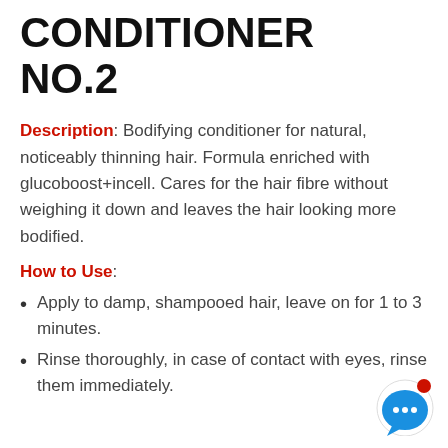CONDITIONER NO.2
Description: Bodifying conditioner for natural, noticeably thinning hair. Formula enriched with glucoboost+incell. Cares for the hair fibre without weighing it down and leaves the hair looking more bodified.
How to Use:
Apply to damp, shampooed hair, leave on for 1 to 3 minutes.
Rinse thoroughly, in case of contact with eyes, rinse them immediately.